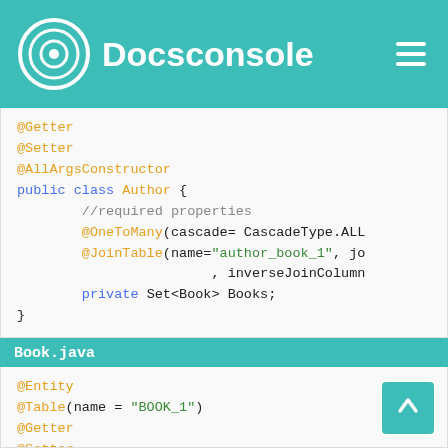Docsconsole
[Figure (screenshot): Code snippet showing @Getter, @Setter, @AllArgsConstructor, public class Author { //required properties @OneToMany(cascade= CascadeType.ALL @JoinTable(name="author_book_1", jo , inverseJoinColumn private Set<Book> Books; }]
Book.java
[Figure (screenshot): Code snippet showing @Entity @Table(name = "BOOK_1") @Getter @Setter public class Book {]